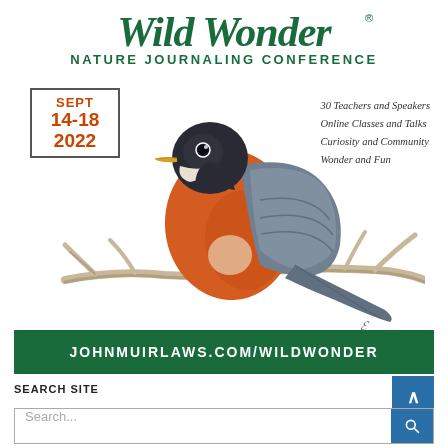Wild Wonder Nature Journaling Conference
SEPT 14-18 2022
30 Teachers and Speakers
Online Classes and Talks
Curiosity and Community
Wonder and Fun
[Figure (illustration): Watercolor illustration of an American Robin perched on a branch, with orange-red breast, dark head, and gray wings. The bird faces left on a pale branch with a yellow beak.]
JOHNMUIRLAWS.COM/WILDWONDER
SEARCH SITE
Search...